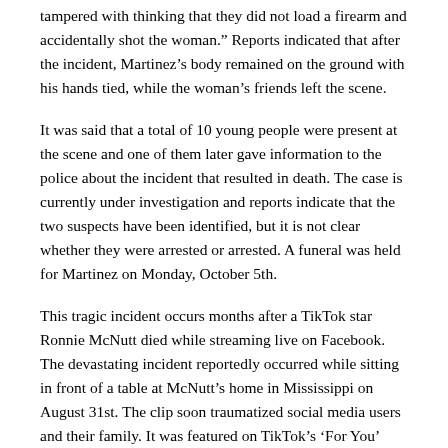tampered with thinking that they did not load a firearm and accidentally shot the woman.” Reports indicated that after the incident, Martinez’s body remained on the ground with his hands tied, while the woman’s friends left the scene.
It was said that a total of 10 young people were present at the scene and one of them later gave information to the police about the incident that resulted in death. The case is currently under investigation and reports indicate that the two suspects have been identified, but it is not clear whether they were arrested or arrested. A funeral was held for Martinez on Monday, October 5th.
This tragic incident occurs months after a TikTok star Ronnie McNutt died while streaming live on Facebook. The devastating incident reportedly occurred while sitting in front of a table at McNutt’s home in Mississippi on August 31st. The clip soon traumatized social media users and their family. It was featured on TikTok’s ‘For You’ trend homepage, and reportedly a number of social media users inadvertently watched the clip as it showed a bearded man with glasses